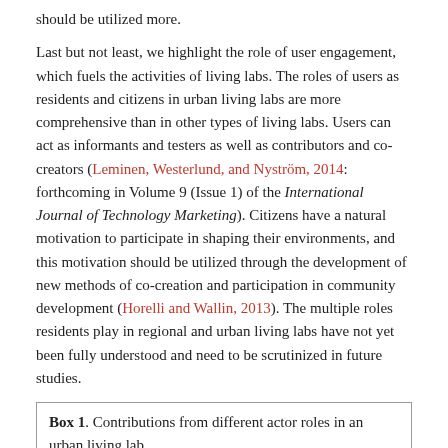should be utilized more.
Last but not least, we highlight the role of user engagement, which fuels the activities of living labs. The roles of users as residents and citizens in urban living labs are more comprehensive than in other types of living labs. Users can act as informants and testers as well as contributors and co-creators (Leminen, Westerlund, and Nyström, 2014: forthcoming in Volume 9 (Issue 1) of the International Journal of Technology Marketing). Citizens have a natural motivation to participate in shaping their environments, and this motivation should be utilized through the development of new methods of co-creation and participation in community development (Horelli and Wallin, 2013). The multiple roles residents play in regional and urban living labs have not yet been fully understood and need to be scrutinized in future studies.
Box 1. Contributions from different actor roles in an urban living lab
City representatives as enablers
creating the vision and allocating resources